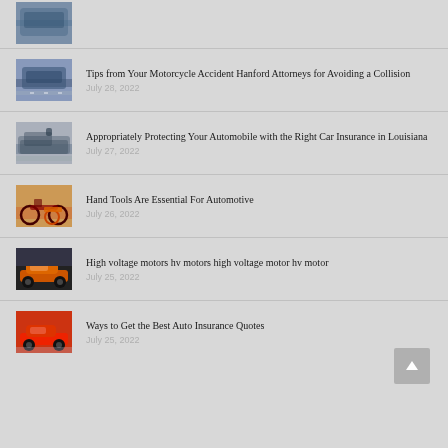[Figure (photo): Partial car thumbnail at top (blue/dark car, cropped)]
Tips from Your Motorcycle Accident Hanford Attorneys for Avoiding a Collision
July 28, 2022
Appropriately Protecting Your Automobile with the Right Car Insurance in Louisiana
July 27, 2022
Hand Tools Are Essential For Automotive
July 26, 2022
High voltage motors hv motors high voltage motor hv motor
July 25, 2022
Ways to Get the Best Auto Insurance Quotes
July 25, 2022